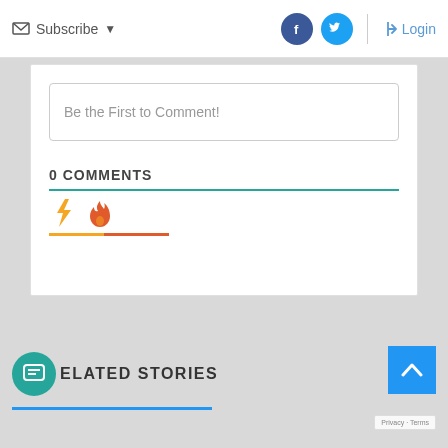Subscribe  Login
Be the First to Comment!
0 COMMENTS
[Figure (other): Tab icons: lightning bolt (yellow) and fire (orange-red) with colored underline indicators]
RELATED STORIES